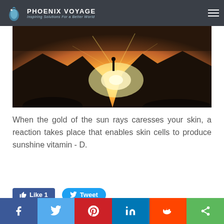Phoenix Voyage – Inspiring Solutions For a Better World
[Figure (photo): Person standing on rocky mountain top with bright golden sun rays shining behind them, dramatic landscape]
When the gold of the sun rays caresses your skin, a reaction takes place that enables skin cells to produce sunshine vitamin - D.
Read More
Like 1   Tweet
0 Comments
Social share bar: Facebook, Twitter, Pinterest, LinkedIn, Reddit, Share